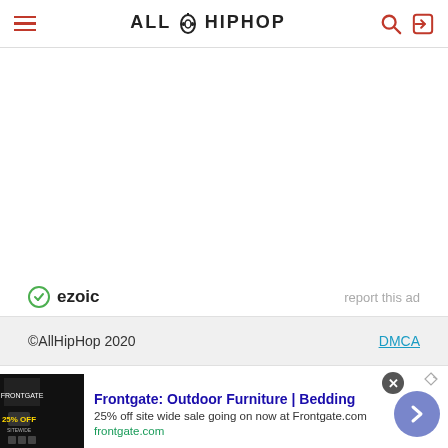ALLHIPHOP
[Figure (other): Ezoic ad placeholder area — large blank white space with ezoic branding and 'report this ad' link below]
©AllHipHop 2020   DMCA
[Figure (other): Advertisement banner: Frontgate Outdoor Furniture | Bedding, 25% off site wide sale going on now at Frontgate.com, frontgate.com]